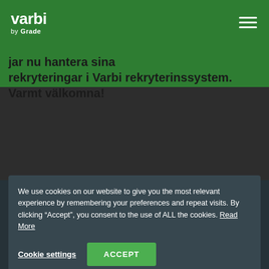[Figure (logo): Varbi by Grade logo — white text on green background]
jar nu hantera sina rekryteringar i Varbi rekryterinssystem. Varmt välkomna!
We use cookies on our website to give you the most relevant experience by remembering your preferences and repeat visits. By clicking "Accept", you consent to the use of ALL the cookies. Read More
Cookie settings
ACCEPT
Stockholm
Oslo
Trollhättan
Köpenhamn
Palo Alto